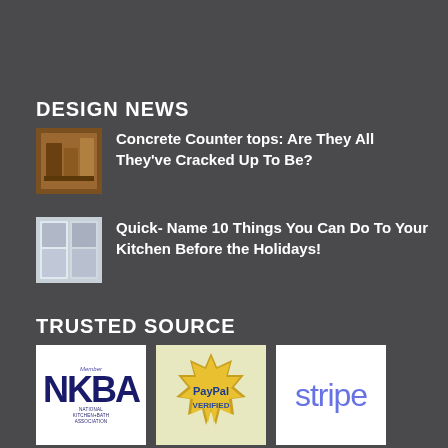DESIGN NEWS
Concrete Counter tops: Are They All They've Cracked Up To Be?
Quick- Name 10 Things You Can Do To Your Kitchen Before the Holidays!
TRUSTED SOURCE
[Figure (logo): NKBA - National Kitchen+Bath Association logo]
[Figure (logo): PayPal Verified seal badge]
[Figure (logo): Stripe payment logo]